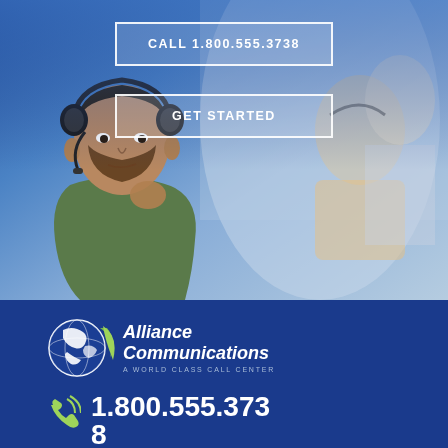[Figure (photo): Call center workers wearing headsets, man in foreground with beard and green shirt speaking into headset microphone, colleagues visible in blurred background, blue gradient overlay at top]
CALL 1.800.555.3738
GET STARTED
[Figure (logo): Alliance Communications logo: white globe icon with swoosh on left, italic white text 'Alliance Communications' with tagline 'A WORLD CLASS CALL CENTER' below]
1.800.555.3738